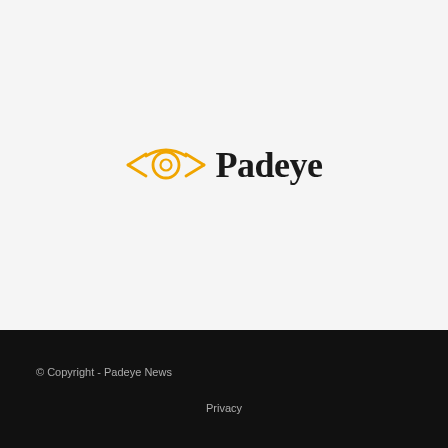[Figure (logo): Padeye logo: golden/yellow abstract eye-like icon with arrow shapes on sides, followed by bold serif text 'Padeye']
© Copyright - Padeye News
Privacy